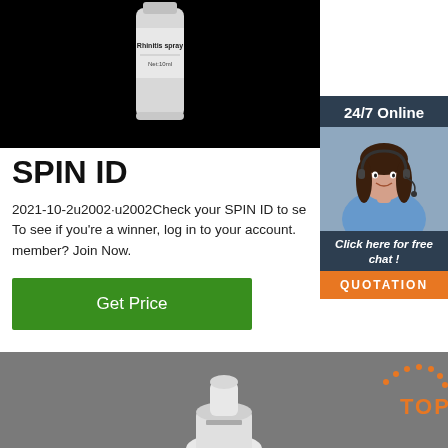[Figure (photo): Rhinitis spray bottle product image on black background. Label reads 'Rhinitis spray' and 'Net:10ml']
[Figure (photo): 24/7 Online customer service widget with agent photo, 'Click here for free chat!' text and QUOTATION button]
SPIN ID
2021-10-2u2002·u2002Check your SPIN ID to se⁠ To see if you're a winner, log in to your account. member? Join Now.
[Figure (illustration): Green 'Get Price' button]
[Figure (photo): Bottom product image on grey background with TOP badge logo and white spray bottle cap]